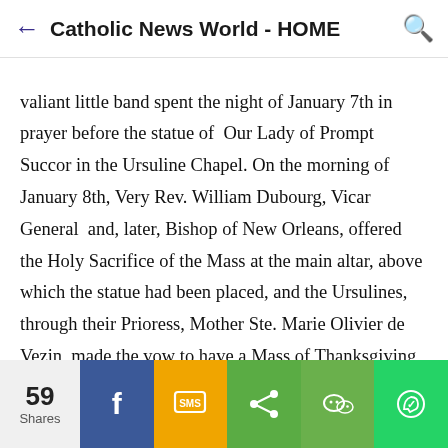Catholic News World - HOME
valiant little band spent the night of January 7th in prayer before the statue of  Our Lady of Prompt Succor in the Ursuline Chapel. On the morning of January 8th, Very Rev. William Dubourg, Vicar General  and, later, Bishop of New Orleans, offered the Holy Sacrifice of the Mass at the main altar, above which the statue had been placed, and the Ursulines, through their Prioress, Mother Ste. Marie Olivier de Vezin, made the vow to have a Mass of Thanksgiving sung annually should the Americans be victorious. At the moment of Communion, a courier rushed into the  chapel, announcing the glad tidings of the enemy's defeat. After Mass Father
59 Shares